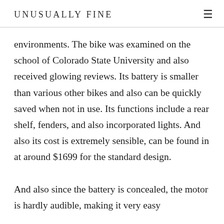UNUSUALLY FINE
environments. The bike was examined on the school of Colorado State University and also received glowing reviews. Its battery is smaller than various other bikes and also can be quickly saved when not in use. Its functions include a rear shelf, fenders, and also incorporated lights. And also its cost is extremely sensible, can be found in at around $1699 for the standard design.

And also since the battery is concealed, the motor is hardly audible, making it very easy